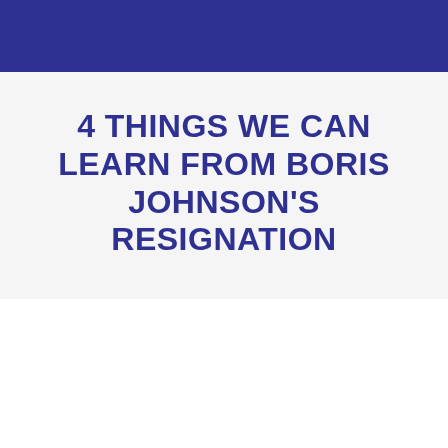4 THINGS WE CAN LEARN FROM BORIS JOHNSON'S RESIGNATION